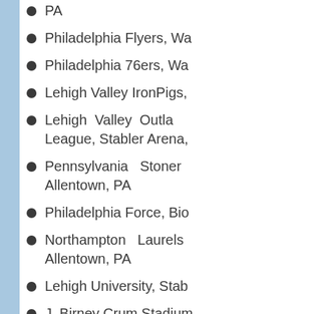PA
Philadelphia Flyers, Wa
Philadelphia 76ers, Wa
Lehigh Valley IronPigs,
Lehigh Valley Outlaws, League, Stabler Arena,
Pennsylvania Stoner Allentown, PA
Philadelphia Force, Bic
Northampton Laurels Allentown, PA
Lehigh University, Stab
J. Birney Crum Stadium